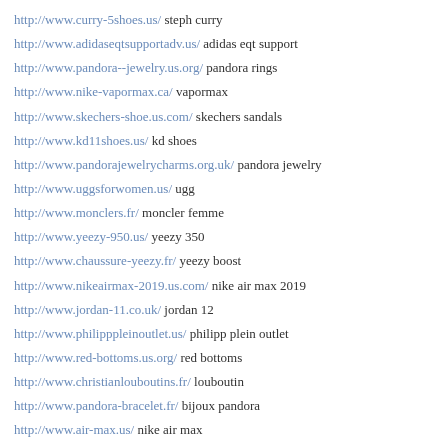http://www.curry-5shoes.us/ steph curry
http://www.adidaseqtsupportadv.us/ adidas eqt support
http://www.pandora--jewelry.us.org/ pandora rings
http://www.nike-vapormax.ca/ vapormax
http://www.skechers-shoe.us.com/ skechers sandals
http://www.kd11shoes.us/ kd shoes
http://www.pandorajewelrycharms.org.uk/ pandora jewelry
http://www.uggsforwomen.us/ ugg
http://www.monclers.fr/ moncler femme
http://www.yeezy-950.us/ yeezy 350
http://www.chaussure-yeezy.fr/ yeezy boost
http://www.nikeairmax-2019.us.com/ nike air max 2019
http://www.jordan-11.co.uk/ jordan 12
http://www.philipppleinoutlet.us/ philipp plein outlet
http://www.red-bottoms.us.org/ red bottoms
http://www.christianlouboutins.fr/ louboutin
http://www.pandora-bracelet.fr/ bijoux pandora
http://www.air-max.us/ nike air max
http://www.jordan11.ca/ jordan 11
http://www.red-bottoms.org.uk/ christian louboutin
http://www.zxflux.us/ adidas flux
http://www.nike--trainers.org.uk/ nike